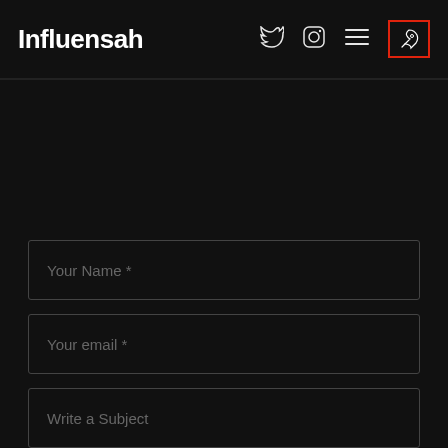Influensah
[Figure (screenshot): Website navigation bar with logo 'Influensah', Twitter icon, Instagram icon, hamburger menu, and rocket icon in red box]
Your Name *
Your email *
Write a Subject